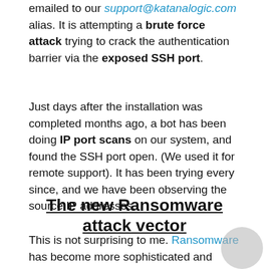emailed to our support@katanalogic.com alias. It is attempting a brute force attack trying to crack the authentication barrier via the exposed SSH port.
Just days after the installation was completed months ago, a bot has been doing IP port scans on our system, and found the SSH port open. (We used it for remote support). It has been trying every since, and we have been observing the source IP addresses.
The new Ransomware attack vector
This is not surprising to me. Ransomware has become more sophisticated and more damaging than ever because the monetary returns from the ransomware are far more effective and lucrative than other cybersecurity threats so far. And the easiest preys are the weakest link in the People, Process and Technology chain. Phishing breaches through social engineering, emails are the most common attack vectors, but there are vhishing (via voicemail) and smshing (via